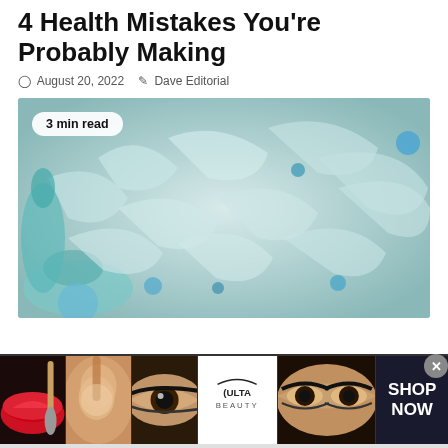4 Health Mistakes You’re Probably Making
○ August 20, 2022  ✎ Dave Editorial
[Figure (photo): Overhead view of crushed clear plastic bottles with blue caps scattered on a white surface. A badge reads '3 min read'.]
ARTICLES
[Figure (photo): Advertisement banner strip showing beauty images: red lips with makeup brush, face with powder brush, eye with dramatic makeup, Ulta Beauty logo, close-up dramatic eye makeup. Right side shows 'SHOP NOW' on dark background with close button.]